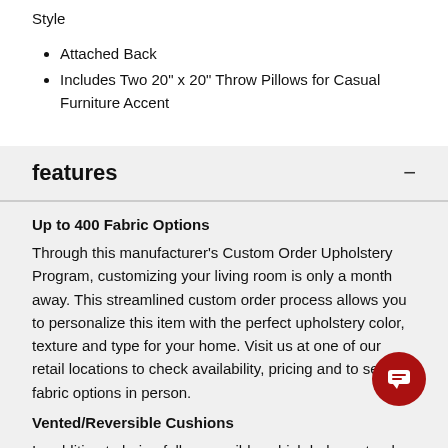Style
Attached Back
Includes Two 20" x 20" Throw Pillows for Casual Furniture Accent
features
Up to 400 Fabric Options
Through this manufacturer's Custom Order Upholstery Program, customizing your living room is only a month away. This streamlined custom order process allows you to personalize this item with the perfect upholstery color, texture and type for your home. Visit us at one of our retail locations to check availability, pricing and to see the fabric options in person.
Vented/Reversible Cushions
In addition to being fully reversible, which helps extend